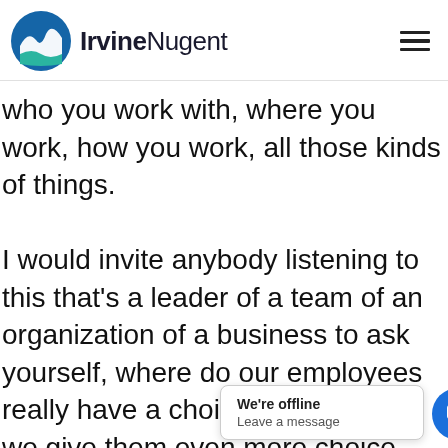IrvineNugent
who you work with, where you work, how you work, all those kinds of things.

I would invite anybody listening to this that's a leader of a team of an organization of a business to ask yourself, where do our employees really have a choice and how can we give them even more choice and [text obscured] their day in their week in th[text obscured]s [text obscured]g
We're offline
Leave a message